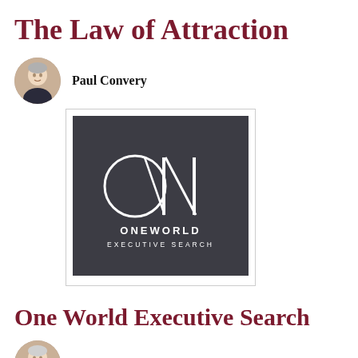The Law of Attraction
Paul Convery
[Figure (logo): One World Executive Search logo — dark grey square with stylized 'OW' lettermark in white and text 'ONE WORLD EXECUTIVE SEARCH' below]
One World Executive Search
Paul Convery